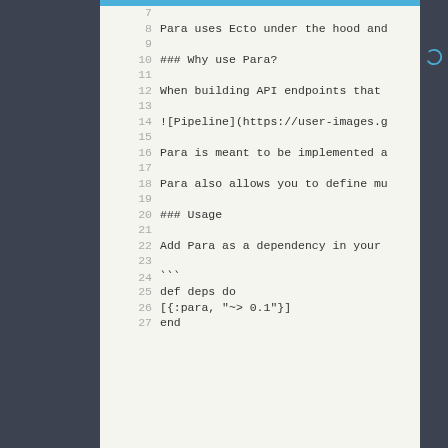Code viewer showing lines 7-27 of a Markdown/Elixir file about the Para library
7  (empty)
8      Para uses Ecto under the hood and
9  (empty)
10     ### Why use Para?
11 (empty)
12     When building API endpoints that
13 (empty)
14     ![Pipeline](https://user-images.g
15 (empty)
16     Para is meant to be implemented a
17 (empty)
18     Para also allows you to define mu
19 (empty)
20     ### Usage
21 (empty)
22     Add Para as a dependency in your
23 (empty)
24     ```
25     def deps do
26       [{:para, "~> 0.1"}]
27     end